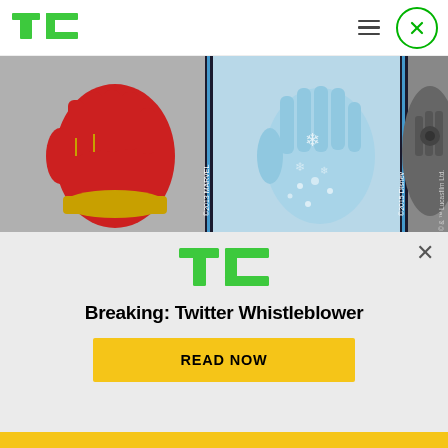TechCrunch logo, hamburger menu, close button
[Figure (photo): Three costume gloves displayed side by side: Iron Man red glove (Marvel), Frozen blue glove (Disney), and Star Wars dark robotic glove (Lucasfilm). Separated by vertical blue-black dividers.]
The two-day Disrupt conference runs December 5 to 6 in the Olympic Village's Copper Box Arena and features Startup Alley and Startup Battlefield where one startup will take home £30,000. You can buy
[Figure (logo): TechCrunch TC logo in green, followed by Breaking: Twitter Whistleblower headline and a yellow READ NOW button. This is a promotional overlay panel.]